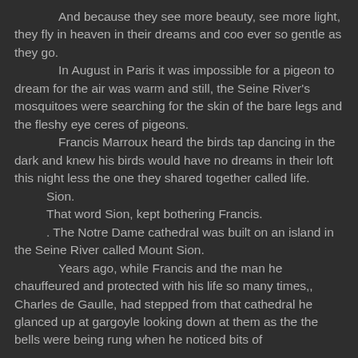And because they see more beauty, see more light, they fly in heaven in their dreams and coo ever so gentle as they go.

In August in Paris it was impossible for a pigeon to dream for the air was warm and still, the Seine River's mosquitoes were searching for the skin of the bare legs and the fleshy eye ceres of pigeons.

Francis Marroux heard the birds tap dancing in the dark and knew his birds would have no dreams in their loft this night less the one they shared together called life.

Sion.

That word Sion, kept bothering Francis.

. The Notre Dame cathedral was built on an island in the Seine River called Mount Sion.

Years ago, while Francis and the man he chauffeured and protected with his life so many times,, Charles de Gaulle, had stepped from that cathedral he glanced up at gargoyle looking down at them as the the bells were being rung when he noticed bits of